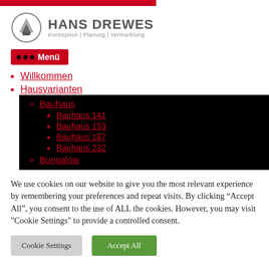[Figure (logo): Hans Drewes company logo with circular emblem and text: HANS DREWES, Konzeption | Planung | Vermarktung]
Menu button with dots
Willkommen
Hausvarianten
Bauhaus
Bauhaus 141
Bauhaus 153
Bauhaus 187
Bauhaus 232
Bungalow
We use cookies on our website to give you the most relevant experience by remembering your preferences and repeat visits. By clicking “Accept All”, you consent to the use of ALL the cookies. However, you may visit "Cookie Settings" to provide a controlled consent.
Cookie Settings | Accept All